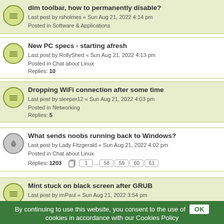dim toolbar, how to permanently disable? Last post by rsholmes « Sun Aug 21, 2022 4:14 pm Posted in Software & Applications
New PC specs - starting afresh Last post by RollyShed « Sun Aug 21, 2022 4:13 pm Posted in Chat about Linux Replies: 10
Dropping WiFi connection after some time Last post by sleeper12 « Sun Aug 21, 2022 4:03 pm Posted in Networking Replies: 5
What sends noobs running back to Windows? Last post by Lady Fitzgerald « Sun Aug 21, 2022 4:02 pm Posted in Chat about Linux Replies: 1203 pages: 1 ... 58 59 60 61
Mint stuck on black screen after GRUB Last post by imPaul « Sun Aug 21, 2022 3:54 pm Posted in Graphics Cards & Monitors
Upgrade? Last post by Catsbark « Sun Aug 21, 2022 3:47 pm Posted in Beginner Questions Replies: 5
Broken kernel 5.15.0-41 Last post by SMG « Sun Aug 21, 2022 3:47 pm Posted in Software & Applications Replies: 13
By continuing to use this website, you consent to the use of cookies in accordance with our Cookies Policy OK